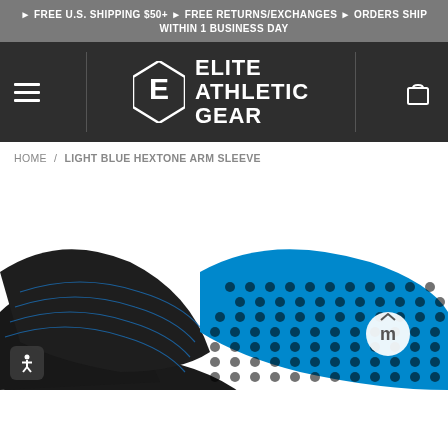► FREE U.S. SHIPPING $50+ ► FREE RETURNS/EXCHANGES ► ORDERS SHIP WITHIN 1 BUSINESS DAY
[Figure (logo): Elite Athletic Gear logo with stylized E diamond icon and white text on dark background nav bar with hamburger menu and cart icon]
HOME / LIGHT BLUE HEXTONE ARM SLEEVE
[Figure (photo): Close-up product photo of a light blue hextone arm sleeve showing black and blue hexagonal dot pattern fabric with elbow bend visible, white circular logo badge on right side]